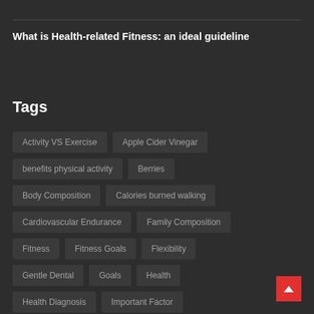What is Health-related Fitness: an ideal guideline
Tags
Activity VS Exercise
Apple Cider Vinegar
benefits physical activity
Berries
Body Composition
Calories burned walking
Cardiovascular Endurance
Family Composition
Fitness
Fitness Goals
Flexibility
Gentle Dental
Goals
Health
Health Diagnosis
Important Factor